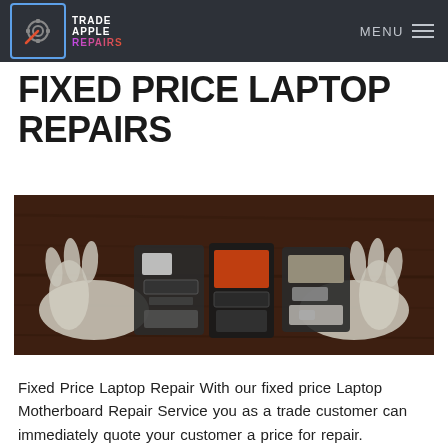MENU
FIXED PRICE LAPTOP REPAIRS
[Figure (photo): Hands in white gloves disassembling mobile phones/electronics on a wooden surface, showing circuit boards and components]
Fixed Price Laptop Repair With our fixed price Laptop Motherboard Repair Service you as a trade customer can immediately quote your customer a price for repair. Therefore you are in full control. We also run a discount scheme where the